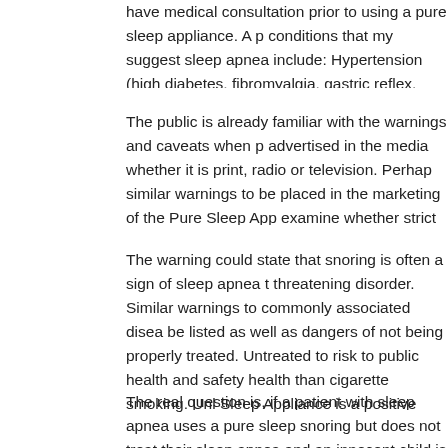have medical consultation prior to using a pure sleep appliance. A p... conditions that my suggest sleep apnea include: Hypertension (high... diabetes, fibromyalgia, gastric reflex, coronary artery disease, heart... Memory problems, thyroid problems, daytime sleepiness, morning h... disorders including headache, earache, joint clicking or popping, eye... neck pain.
The public is already familiar with the warnings and caveats when p... advertised in the media whether it is print, radio or television. Perhap... similar warnings to be placed in the marketing of the Pure Sleep App... examine whether strict disclaimers should be part of the advertising... is not involved in patient treatment.
The warning could state that snoring is often a sign of sleep apnea t... threatening disorder. Similar warnings to commonly associated disea... be listed as well as dangers of not being properly treated. Untreated... to risk to public health and safety health than cigarette smoking. Unl... Sleep Appliance is a positive development if used properly, the dang... in which case it is not only a danger to the user but also to the publi... our current economic crisis how lack of regulation can cause signific...
The real question is, if a patient with sleep apnea uses a pure sleep... snoring but does not treat their sleep apnea and an innocent child is... vehicle accident who is responsible. The FDA for approving the appl...